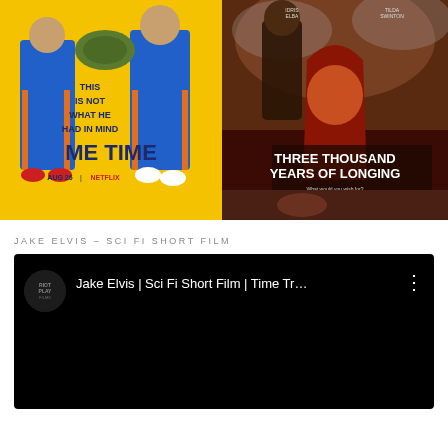[Figure (photo): Movie poster for 'Me Time' - yellow background with two men in blue tracksuits holding a tortoise. Text reads 'THIS IS NOT WHAT HE HAD IN MIND', 'ME TIME', 'AUG 26 | NETFLIX']
[Figure (photo): Movie poster for 'Three Thousand Years of Longing' - dark red/fantasy background with figures in red robes. Text reads 'THREE THOUSAND YEARS OF LONGING', 'ONLY IN MOVIE THEATERS SUMMER']
JAKE ELVIS – SCI FI SHORT FILM
[Figure (screenshot): YouTube video thumbnail/player showing: channel icon 'RIOT PLAY' on the left, video title 'Jake Elvis | Sci Fi Short Film | Time Tr…', three-dot menu icon on the right. Black background.]